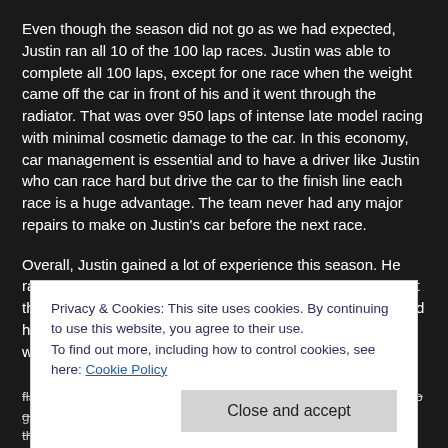Even though the season did not go as we had expected, Justin ran all 10 of the 100 lap races. Justin was able to complete all 100 laps, except for one race when the weight came off the car in front of his and it went through the radiator. That was over 950 laps of intense late model racing with minimal cosmetic damage to the car. In this economy, car management is essential and to have a driver like Justin who can race hard but drive the car to the finish line each race is a huge advantage. The team never had any major repairs to make on Justin's car before the next race.
Overall, Justin gained a lot of experience this season. He raced with drivers who had more seat time and who brought their best equipment to Hickory Motor Speedway. Justin held his own against these drivers, drove hard and always drove with respect on the track.
Privacy & Cookies: This site uses cookies. By continuing to use this website, you agree to their use. To find out more, including how to control cookies, see here: Cookie Policy
flags, the gift bags, and the Activity Booklets that Justin was able to give out this...